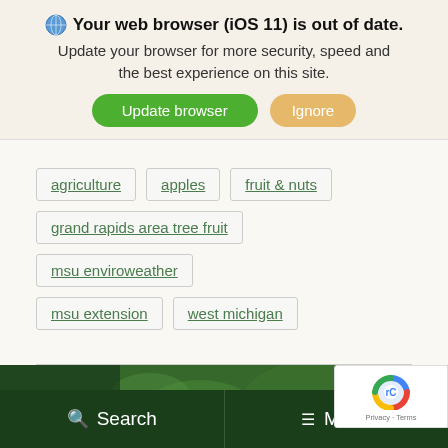Your web browser (iOS 11) is out of date. Update your browser for more security, speed and the best experience on this site. [Update browser] [Ignore]
agriculture
apples
fruit & nuts
grand rapids area tree fruit
msu enviroweather
msu extension
west michigan
[Figure (photo): Dark green image of foliage/plants with dark green overlay, partial screenshot view]
Search  Menu